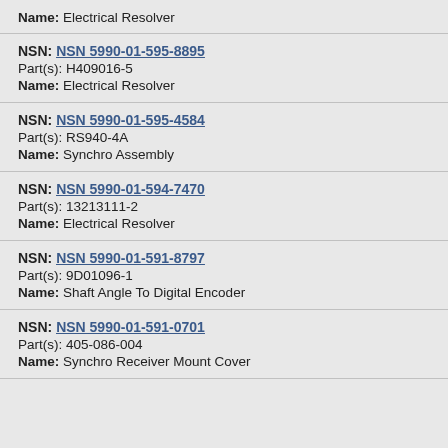Name: Electrical Resolver
NSN: NSN 5990-01-595-8895
Part(s): H409016-5
Name: Electrical Resolver
NSN: NSN 5990-01-595-4584
Part(s): RS940-4A
Name: Synchro Assembly
NSN: NSN 5990-01-594-7470
Part(s): 13213111-2
Name: Electrical Resolver
NSN: NSN 5990-01-591-8797
Part(s): 9D01096-1
Name: Shaft Angle To Digital Encoder
NSN: NSN 5990-01-591-0701
Part(s): 405-086-004
Name: Synchro Receiver Mount Cover